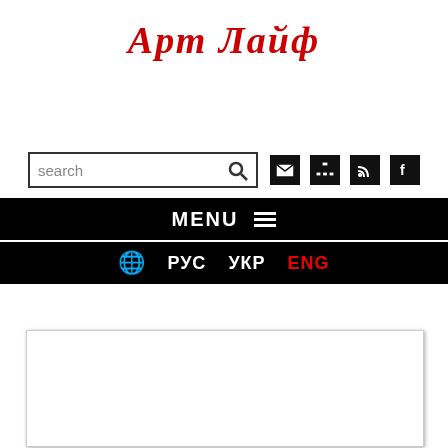Арт Лайф
[Figure (screenshot): Search bar with text 'search', magnifying glass icon, and social/utility icons (email, sitemap, RSS, Facebook)]
MENU ≡
🌐 РУС  УКР  ENG
[Figure (screenshot): White content panel with border and shadow]